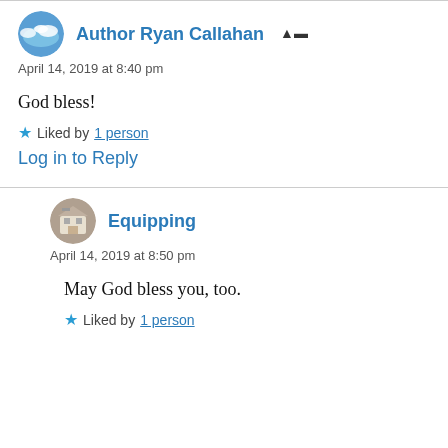Author Ryan Callahan
April 14, 2019 at 8:40 pm
God bless!
Liked by 1 person
Log in to Reply
Equipping
April 14, 2019 at 8:50 pm
May God bless you, too.
Liked by 1 person